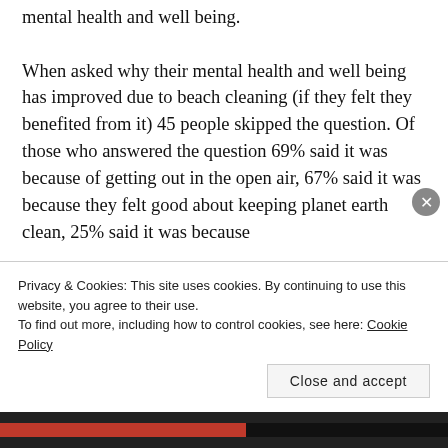mental health and well being. When asked why their mental health and well being has improved due to beach cleaning (if they felt they benefited from it) 45 people skipped the question. Of those who answered the question 69% said it was because of getting out in the open air, 67% said it was because they felt good about keeping planet earth clean, 25% said it was because
Privacy & Cookies: This site uses cookies. By continuing to use this website, you agree to their use. To find out more, including how to control cookies, see here: Cookie Policy
Close and accept